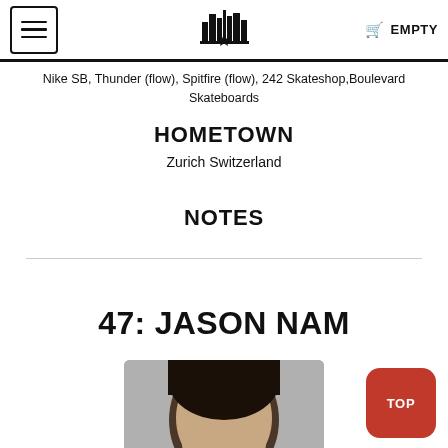EMPTY
Nike SB, Thunder (flow), Spitfire (flow), 242 Skateshop,Boulevard Skateboards
HOMETOWN
Zurich Switzerland
NOTES
47: JASON NAM
[Figure (photo): Portrait photo of Jason Nam, showing the top of his head with dark hair, cropped at chin level]